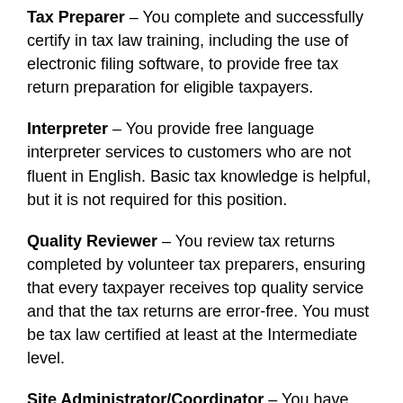Tax Preparer – You complete and successfully certify in tax law training, including the use of electronic filing software, to provide free tax return preparation for eligible taxpayers.
Interpreter – You provide free language interpreter services to customers who are not fluent in English. Basic tax knowledge is helpful, but it is not required for this position.
Quality Reviewer – You review tax returns completed by volunteer tax preparers, ensuring that every taxpayer receives top quality service and that the tax returns are error-free. You must be tax law certified at least at the Intermediate level.
Site Administrator/Coordinator – You have excellent organizational and leadership skills. You are the primary resource for sharing your knowledge of the program and